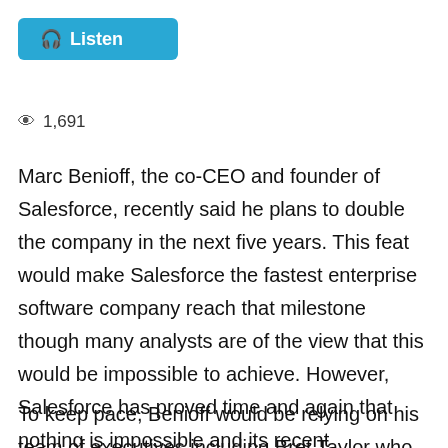[Figure (other): Listen button with headphone icon, cyan/blue background]
1,691
Marc Benioff, the co-CEO and founder of Salesforce, recently said he plans to double the company in the next five years. This feat would make Salesforce the fastest enterprise software company reach that milestone though many analysts are of the view that this would be impossible to achieve. However, Salesforce has proved time and again that nothing is impossible and its recent acquisitions of Tableau and MuleSoft have helped it proved critics wrong.
To keep pace, Benioff would be relying on his team of executives including Bret Taylor who was